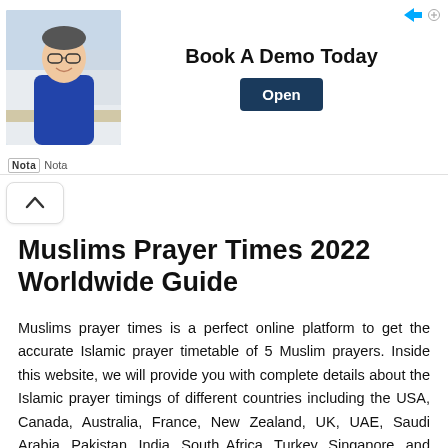[Figure (infographic): Advertisement banner: photo of smiling man in blue shirt, text 'Book A Demo Today', and an 'Open' button. Footer shows 'Nota' branding with arrow/sponsor icons.]
Muslims Prayer Times 2022 Worldwide Guide
Muslims prayer times is a perfect online platform to get the accurate Islamic prayer timetable of 5 Muslim prayers. Inside this website, we will provide you with complete details about the Islamic prayer timings of different countries including the USA, Canada, Australia, France, New Zealand, UK, UAE, Saudi Arabia, Pakistan, India, South Africa, Turkey, Singapore, and many more other countries of the world. As Muslims